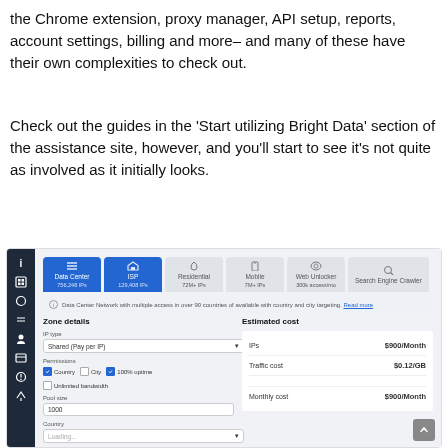the Chrome extension, proxy manager, API setup, reports, account settings, billing and more– and many of these have their own complexities to check out.
Check out the guides in the 'Start utilizing Bright Data' section of the assistance site, however, and you'll start to see it's not quite as involved as it initially looks.
[Figure (screenshot): Screenshot of Bright Data dashboard showing proxy zone configuration interface with Data Center and ISP tabs selected, Zone details panel with IP type (Shared/Pay per IP), Permissions (Country checked, City unchecked, 100% uptime checked), Unlimited bandwidth checkbox, Pool size field (1000), Country field (Loading...), and Estimated cost panel showing IPs: $900/Month, Traffic cost: $0.12/GB, Monthly cost: $900/Month]